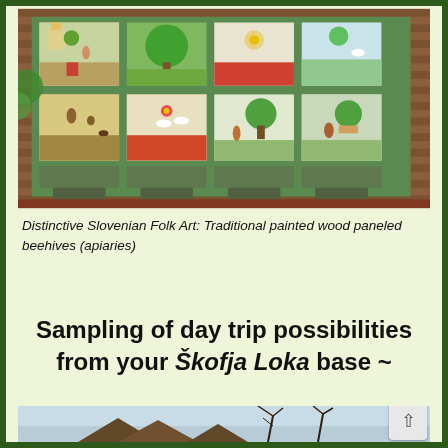[Figure (photo): Traditional Slovenian painted wood paneled beehives (apiaries) with colorful folk art scenes depicting rural life, animals, and nature on each panel. The beehives are arranged in rows against a wooden wall structure.]
Distinctive Slovenian Folk Art: Traditional painted wood paneled beehives (apiaries)
Sampling of day trip possibilities from your Škofja Loka base ~
[Figure (photo): Partial view of a building or structure with bare tree branches against a light sky, partially visible at bottom of page.]